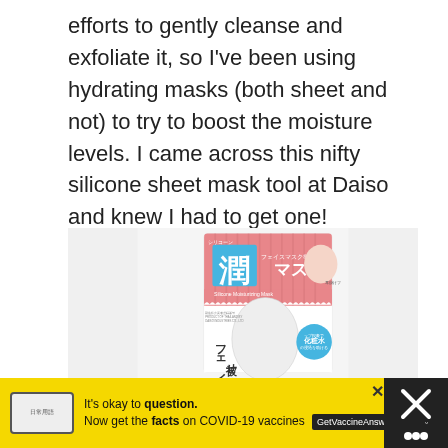efforts to gently cleanse and exfoliate it, so I've been using hydrating masks (both sheet and not) to try to boost the moisture levels. I came across this nifty silicone sheet mask tool at Daiso and knew I had to get one!
[Figure (photo): Product packaging photo of a Japanese silicone moisturizing face mask (Silicone Moisturizing Mask) with Japanese text including kanji characters, showing a woman wearing the mask, pink and white packaging design]
It's okay to question. Now get the facts on COVID-19 vaccines GetVaccineAnswers.org